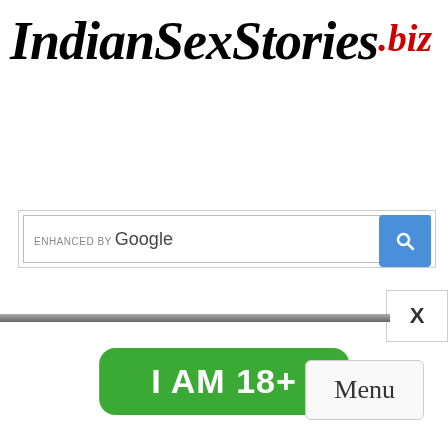IndianSexStories.biz
[Figure (screenshot): Google enhanced search bar with blue search button]
X
I AM 18+
Menu